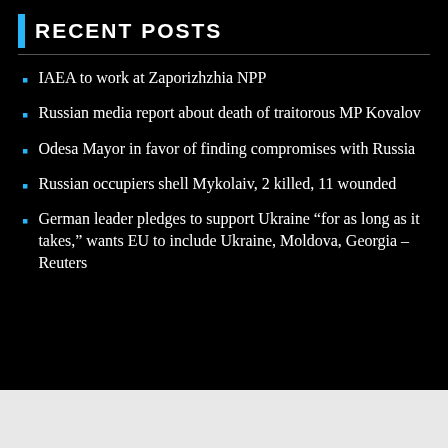RECENT POSTS
IAEA to work at Zaporizhzhia NPP
Russian media report about death of traitorous MP Kovalov
Odesa Mayor in favor of finding compromises with Russia
Russian occupiers shell Mykolaiv, 2 killed, 11 wounded
German leader pledges to support Ukraine “for as long as it takes,” wants EU to include Ukraine, Moldova, Georgia – Reuters